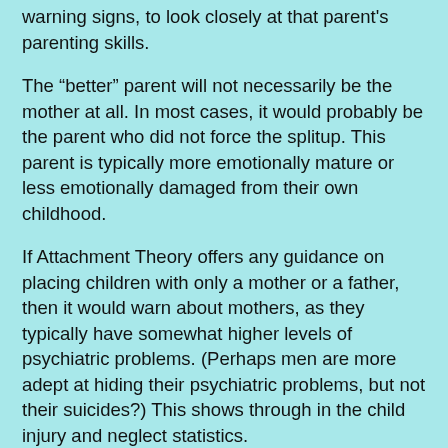warning signs, to look closely at that parent's parenting skills.
The “better” parent will not necessarily be the mother at all. In most cases, it would probably be the parent who did not force the splitup. This parent is typically more emotionally mature or less emotionally damaged from their own childhood.
If Attachment Theory offers any guidance on placing children with only a mother or a father, then it would warn about mothers, as they typically have somewhat higher levels of psychiatric problems. (Perhaps men are more adept at hiding their psychiatric problems, but not their suicides?) This shows through in the child injury and neglect statistics.
More to the point, current Attachment Theory warns about the damage done to children, by arbitrary extinguishment of their significant relationships. Beware of the relationship models...